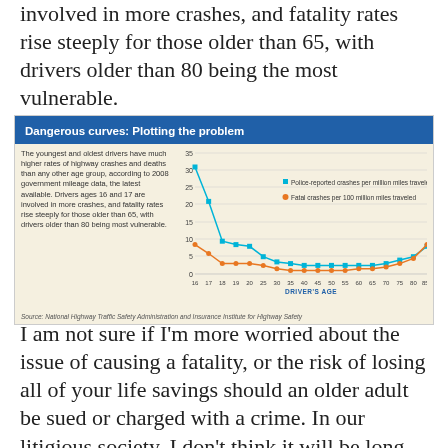involved in more crashes, and fatality rates rise steeply for those older than 65, with drivers older than 80 being the most vulnerable.
[Figure (line-chart): Dangerous curves: Plotting the problem]
Source: National Highway Traffic Safety Administration and Insurance Institute for Highway Safety
I am not sure if I'm more worried about the issue of causing a fatality, or the risk of losing all of your life savings should an older adult be sued or charged with a crime. In our litigious society, I don't think it will be long before someone will